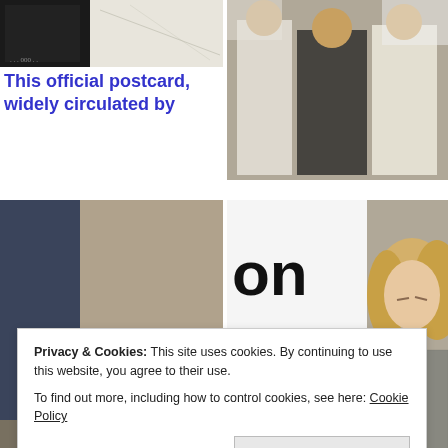[Figure (photo): Partial photo top-left: black and white image, appears to show a snowy or winter scene with some figure/text at bottom]
[Figure (photo): Photo top-right: three men in traditional Arab dress (thobe and keffiyeh) seated together]
This official postcard, widely circulated by
[Figure (photo): Photo bottom-left: people around a large metal bowl filled with red liquid (blood), hands visible, slaughter scene]
[Figure (photo): Photo bottom-right: partial text reading 'on', 'dation', 'o Play' on banner/sign, and a woman with blonde hair (Hillary Clinton) in a tweed jacket]
Privacy & Cookies: This site uses cookies. By continuing to use this website, you agree to their use.
To find out more, including how to control cookies, see here: Cookie Policy
Close and accept